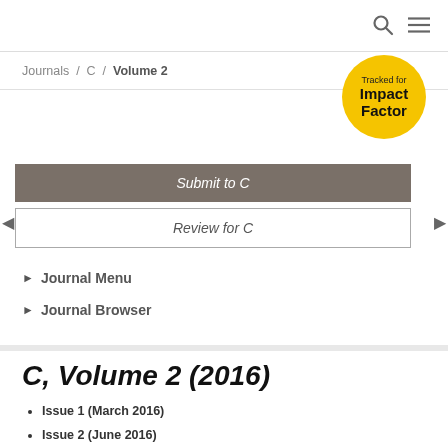Search / Menu icons
Journals / C / Volume 2
[Figure (other): Yellow circular badge reading 'Tracked for Impact Factor']
Submit to C
Review for C
► Journal Menu
► Journal Browser
C, Volume 2 (2016)
Issue 1 (March 2016)
Issue 2 (June 2016)